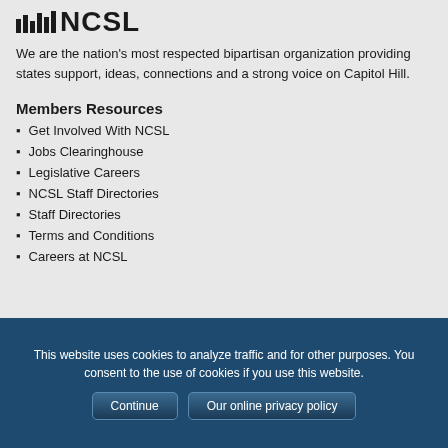[Figure (logo): NCSL logo with bar chart icon and bold NCSL text]
We are the nation's most respected bipartisan organization providing states support, ideas, connections and a strong voice on Capitol Hill.
Members Resources
Get Involved With NCSL
Jobs Clearinghouse
Legislative Careers
NCSL Staff Directories
Staff Directories
Terms and Conditions
Careers at NCSL
This website uses cookies to analyze traffic and for other purposes. You consent to the use of cookies if you use this website.
Continue   Our online privacy policy